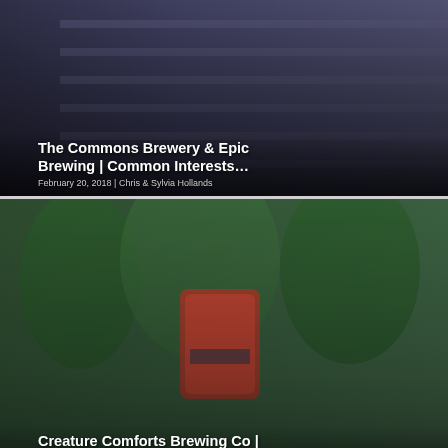[Figure (photo): Article card with photo background: brewery stairs/steps scene with text overlay]
The Commons Brewery & Epic Brewing | Common Interests…
February 20, 2018 | Chris & Sylvia Hollands
[Figure (photo): Article card with photo background: hand holding a beer can outdoors]
Creature Comforts Brewing Co | Automatic
May 11, 2020 | Brandon Cohran
[Figure (photo): Article card with photo background: Xül Beer Company HYFR logo/label]
Xül Beer Co. | HYFR Double IPA Citra + Galaxy…
March 1, 2021 | Jason Murphy
[Figure (photo): Article card with photo background: outdoor scene with beer bottle]
Jolly Pumpkin Artisan Ales | Persimmon Ship…
July 20, 2015 | Mike Wronski